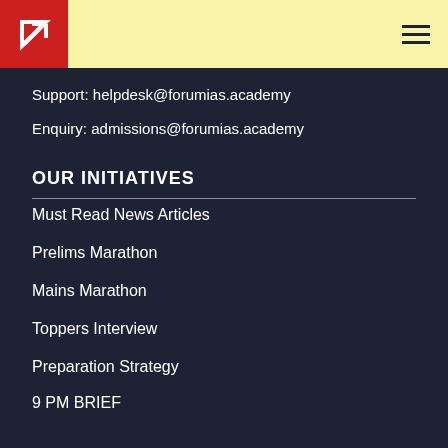Forum IAS - header with logo and menu
Support: helpdesk@forumias.academy
Enquiry: admissions@forumias.academy
OUR INITIATIVES
Must Read News Articles
Prelims Marathon
Mains Marathon
Toppers Interview
Preparation Strategy
9 PM BRIEF
SITE LINKS
Discussion Forum